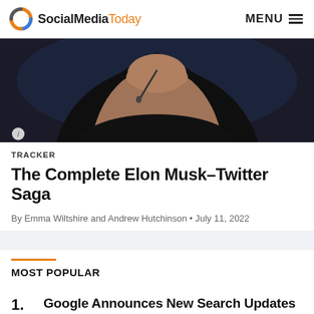SocialMediaToday | MENU
[Figure (photo): Person with hands clasped near face, wearing black, with a microphone visible, dark background]
TRACKER
The Complete Elon Musk–Twitter Saga
By Emma Wiltshire and Andrew Hutchinson • July 11, 2022
MOST POPULAR
1. Google Announces New Search Updates Which Will Put More Emphasis on Content Depth